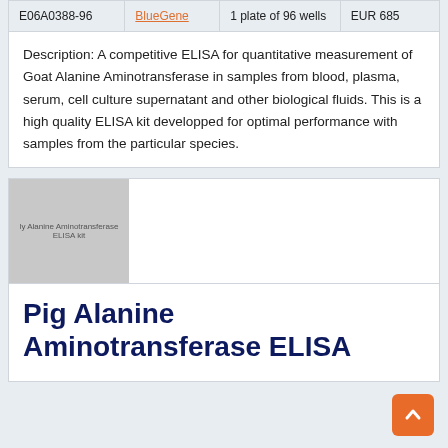|  | Supplier | Quantity | Price |
| --- | --- | --- | --- |
| E06A0388-96 | BlueGene | 1 plate of 96 wells | EUR 685 |
Description: A competitive ELISA for quantitative measurement of Goat Alanine Aminotransferase in samples from blood, plasma, serum, cell culture supernatant and other biological fluids. This is a high quality ELISA kit developped for optimal performance with samples from the particular species.
[Figure (photo): Thumbnail image of Alanine Aminotransferase ELISA kit product with gray placeholder]
Pig Alanine Aminotransferase ELISA